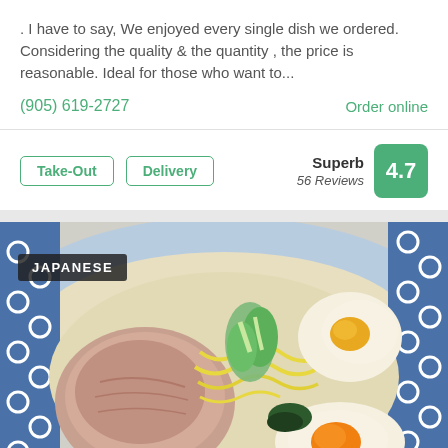. I have to say, We enjoyed every single dish we ordered. Considering the quality & the quantity , the price is reasonable. Ideal for those who want to...
(905) 619-2727
Order online
Take-Out
Delivery
Superb 56 Reviews 4.7
[Figure (photo): Close-up photo of Japanese ramen in a blue and white patterned bowl. The ramen features chashu pork, a soft-boiled egg cut in half, green onions, yellow noodles, and dark seaweed in a creamy broth. A 'JAPANESE' badge label overlays the top-left of the photo.]